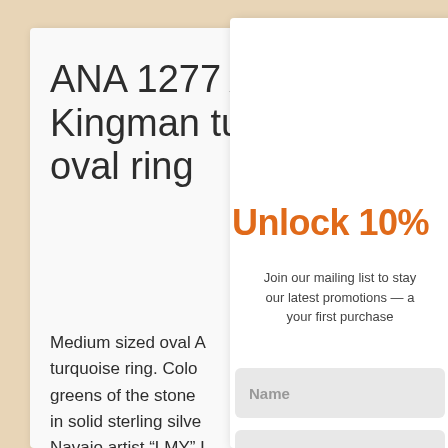ANA 1277 Arizona Kingman turquoise oval ring
Medium sized oval Arizona Kingman turquoise ring. Color blues and greens of the stone are set in solid sterling silver by Navajo artist "LMY" L. Yazzie. Unique silver work details of the ring make up the setting for the stone to be noticed. Measuring 1" in length
[Figure (screenshot): Email signup popup overlay with 'Unlock 10%' heading in orange, mailing list join message, Name and Email input fields, and a teal Subscribe button, overlapping a product page for an Arizona Kingman turquoise oval ring.]